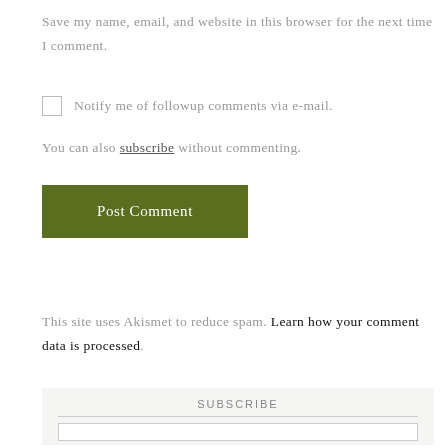Save my name, email, and website in this browser for the next time I comment.
Notify me of followup comments via e-mail.
You can also subscribe without commenting.
Post Comment
This site uses Akismet to reduce spam. Learn how your comment data is processed.
SUBSCRIBE